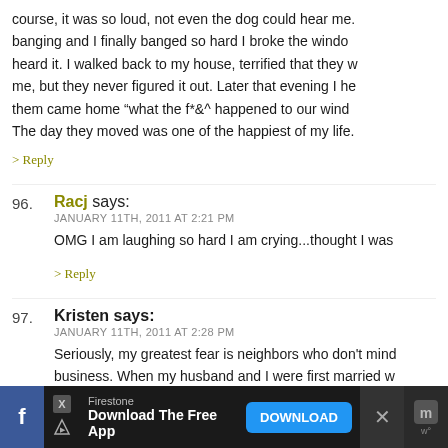course, it was so loud, not even the dog could hear me. banging and I finally banged so hard I broke the window heard it. I walked back to my house, terrified that they w me, but they never figured it out. Later that evening I he them came home “what the f*&^ happened to our wind The day they moved was one of the happiest of my life.
> Reply
96. Racj says: JANUARY 11TH, 2011 AT 2:21 PM — OMG I am laughing so hard I am crying...thought I was
> Reply
97. Kristen says: JANUARY 11TH, 2011 AT 2:28 PM — Seriously, my greatest fear is neighbors who don't mind business. When my husband and I were first married w
[Figure (screenshot): Advertisement bar at bottom: Firestone 'Download The Free App' with DOWNLOAD button, Facebook icon, close button, and social icons on dark background.]